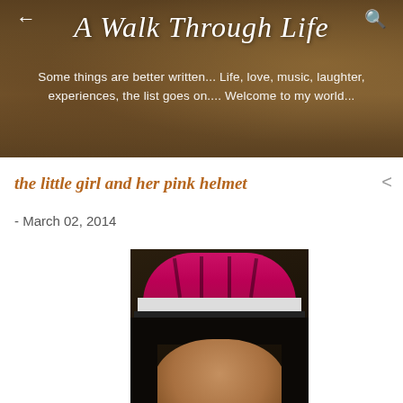A Walk Through Life
Some things are better written... Life, love, music, laughter, experiences, the list goes on.... Welcome to my world...
the little girl and her pink helmet
- March 02, 2014
[Figure (photo): A young girl wearing a pink and white bicycle helmet, looking directly at the camera. The photo is slightly dark with the child's face prominently visible.]